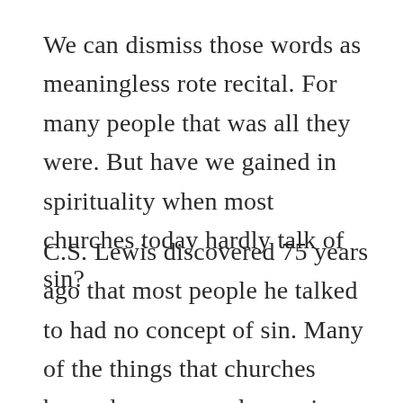We can dismiss those words as meaningless rote recital. For many people that was all they were. But have we gained in spirituality when most churches today hardly talk of sin?
C.S. Lewis discovered 75 years ago that most people he talked to had no concept of sin. Many of the things that churches have always named as major sins did not seem to be sin at all to